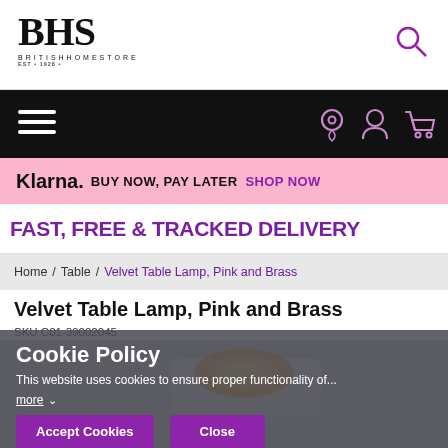BHS BRITISHHOMESTORE
Navigation bar with hamburger menu, location icon, user icon, cart icon
Klarna. BUY NOW, PAY LATER SHOP NOW
FAST, FREE & TRACKED DELIVERY
Home / Table / Velvet Table Lamp, Pink and Brass
Velvet Table Lamp, Pink and Brass
SKU C01-39002045
[Figure (photo): Partial product image of a lamp on grey background, partially obscured by cookie policy overlay]
Cookie Policy
This website uses cookies to ensure proper functionality of...
more
Accept Cookies   Close